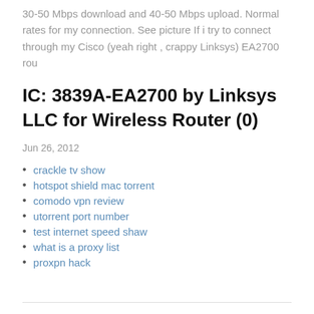30-50 Mbps download and 40-50 Mbps upload. Normal rates for my connection. See picture If i try to connect through my Cisco (yeah right , crappy Linksys) EA2700 rou
IC: 3839A-EA2700 by Linksys LLC for Wireless Router (0)
Jun 26, 2012
crackle tv show
hotspot shield mac torrent
comodo vpn review
utorrent port number
test internet speed shaw
what is a proxy list
proxpn hack